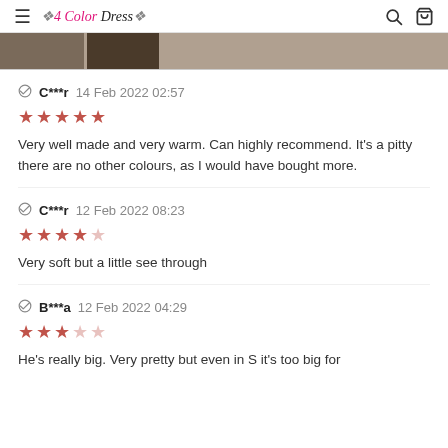≡ 4 Color Dress 🔍 🛒
[Figure (photo): Partial images visible at top of page, two cropped product/user photos]
C***r 14 Feb 2022 02:57
★★★★★
Very well made and very warm. Can highly recommend. It's a pitty there are no other colours, as I would have bought more.
C***r 12 Feb 2022 08:23
★★★★☆
Very soft but a little see through
B***a 12 Feb 2022 04:29
★★★☆☆
He's really big. Very pretty but even in S it's too big for